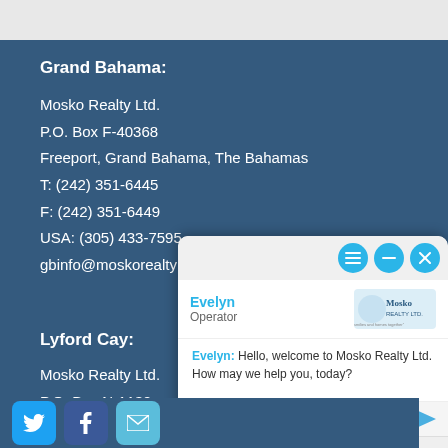Grand Bahama:
Mosko Realty Ltd.
P.O. Box F-40368
Freeport, Grand Bahama, The Bahamas
T: (242) 351-6445
F: (242) 351-6449
USA: (305) 433-7595
gbinfo@moskorealty...
Lyford Cay:
Mosko Realty Ltd.
P.O. Box N-1130
Lyford Cay, The Bah...
T: (242) 362-5219
[Figure (screenshot): Live chat widget overlay showing Evelyn as Operator with Mosko Realty logo, a welcome message, a type-here input box, and Powered By LiveAdmins footer. Three control buttons (menu, minimize, close) in teal circles visible at top right.]
Social media icons: Twitter, Facebook, Email